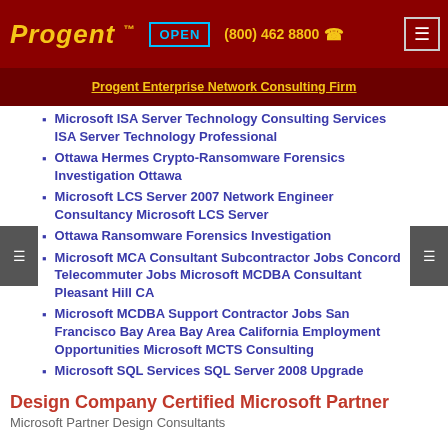Progent™  OPEN  (800) 462 8800  ☎  ☰
Progent Enterprise Network Consulting Firm
Microsoft ISA Server Technology Consulting Services ISA Server Technology Professional
Ottawa Hermes Crypto-Ransomware Forensics Investigation Ottawa
Microsoft LCS Server 2007 Network Engineer Consultancy Microsoft LCS Server
Ottawa Ransomware Forensics Investigation
Microsoft MCA Consultant Subcontractor Jobs Concord Telecommuter Jobs Microsoft MCDBA Consultant Pleasant Hill CA
Microsoft MCDBA Support Contractor Jobs San Francisco Bay Area Bay Area California Employment Opportunities Microsoft MCTS Consulting
Microsoft SQL Services SQL Server 2008 Upgrade
Design Company Certified Microsoft Partner
Microsoft Partner Design Consultants